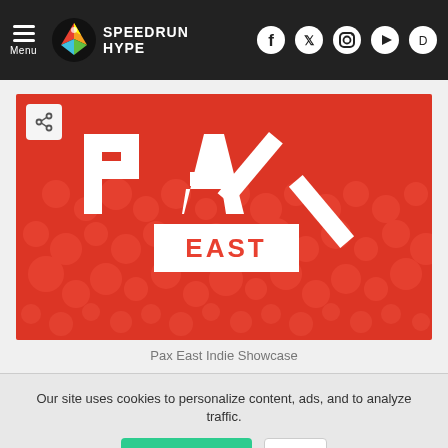Menu | SpeedrunHype | Facebook Twitter Instagram YouTube Discord
[Figure (photo): PAX East logo on a red-tinted crowd background image. Large white PAX letters above a white banner with red EAST text.]
Pax East Indie Showcase
Our site uses cookies to personalize content, ads, and to analyze traffic.
ACCEPT  X